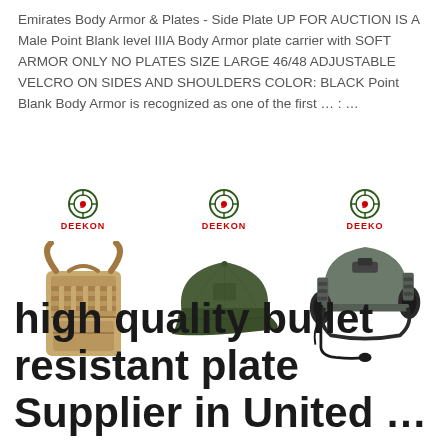Emirates Body Armor & Plates - Side Plate UP FOR AUCTION IS A Male Point Blank level IIIA Body Armor plate carrier with SOFT ARMOR ONLY NO PLATES SIZE LARGE 46/48 ADJUSTABLE VELCRO ON SIDES AND SHOULDERS COLOR: BLACK Point Blank Body Armor is recognized as one of the first ... : ...
[Figure (photo): Three product images each with DEEKON logo above: left shows a tan/khaki tactical backpack/vest, center shows an olive green baseball cap, right shows a military helmet with ear protection and microphone.]
high quality bullet resistant plate Supplier in United ...